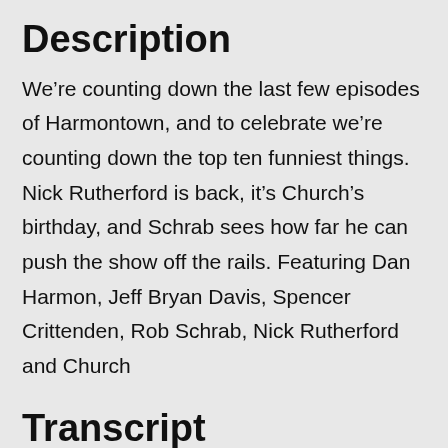Description
We’re counting down the last few episodes of Harmontown, and to celebrate we’re counting down the top ten funniest things. Nick Rutherford is back, it’s Church’s birthday, and Schrab sees how far he can push the show off the rails. Featuring Dan Harmon, Jeff Bryan Davis, Spencer Crittenden, Rob Schrab, Nick Rutherford and Church
Transcript
you lucky sons of bitches harmontown is now a